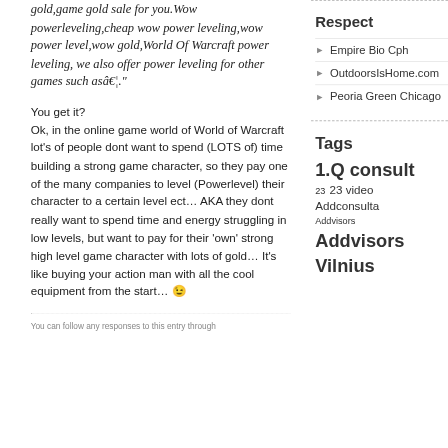gold,game gold sale for you.Wow powerleveling,cheap wow power leveling,wow power level,wow gold,World Of Warcraft power leveling, we also offer power leveling for other games such asâ€¦."
You get it?
Ok, in the online game world of World of Warcraft lot's of people dont want to spend (LOTS of) time building a strong game character, so they pay one of the many companies to level (Powerlevel) their character to a certain level ect… AKA they dont really want to spend time and energy struggling in low levels, but want to pay for their 'own' strong high level game character with lots of gold… It's like buying your action man with all the cool equipment from the start… 😉
You can follow any responses to this entry through
Respect
Empire Bio Cph
OutdoorsIsHome.com
Peoria Green Chicago
Tags
1.Q consult 23 23 video Addconsulta Addvisors Addvisors Vilnius